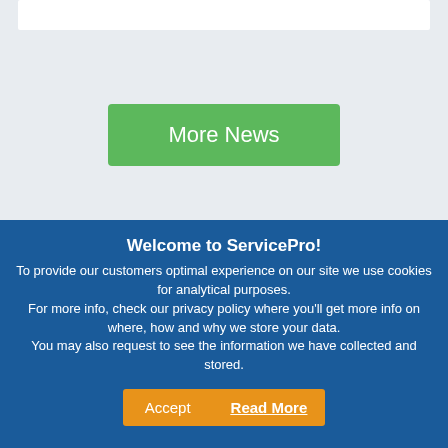[Figure (screenshot): White navigation bar at top of page]
More News
Welcome to ServicePro!
To provide our customers optimal experience on our site we use cookies for analytical purposes. For more info, check our privacy policy where you'll get more info on where, how and why we store your data. You may also request to see the information we have collected and stored.
Accept
Read More